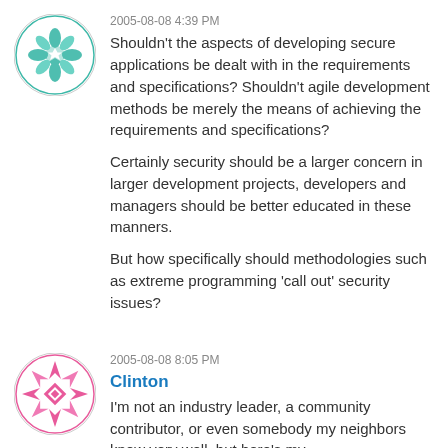[Figure (illustration): Teal/green geometric quilt-pattern avatar icon in a circle]
2005-08-08 4:39 PM
Shouldn't the aspects of developing secure applications be dealt with in the requirements and specifications? Shouldn't agile development methods be merely the means of achieving the requirements and specifications?

Certainly security should be a larger concern in larger development projects, developers and managers should be better educated in these manners.

But how specifically should methodologies such as extreme programming 'call out' security issues?
[Figure (illustration): Pink/magenta geometric quilt-pattern avatar icon in a circle]
2005-08-08 8:05 PM
Clinton
I'm not an industry leader, a community contributor, or even somebody my neighbors know very well, but here's my